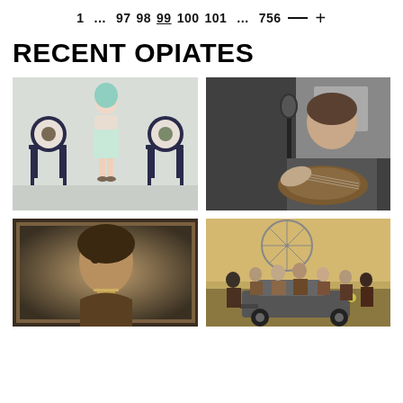1 … 97 98 99 100 101 … 756 —+
RECENT OPIATES
[Figure (photo): Fashion photo: young woman with blue-green hair wearing a light floral dress standing between two ornate dark chairs with animal portraits]
[Figure (photo): Black and white photo: young man playing an acoustic guitar near a microphone in a studio]
[Figure (photo): Sepia/vintage photo: close-up portrait of a woman with jewelry, aged photograph style]
[Figure (photo): Color photo: group of people in period costumes posing around a vintage car with a ferris wheel in the background]